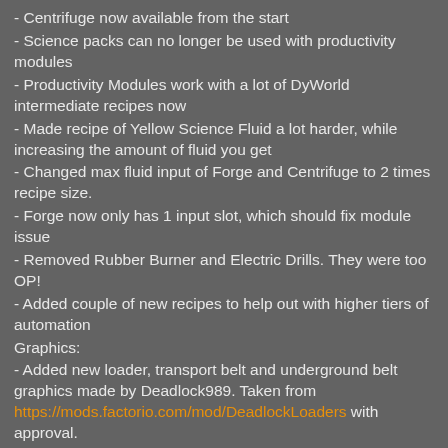- Centrifuge now available from the start
- Science packs can no longer be used with productivity modules
- Productivity Modules work with a lot of DyWorld intermediate recipes now
- Made recipe of Yellow Science Fluid a lot harder, while increasing the amount of fluid you get
- Changed max fluid input of Forge and Centrifuge to 2 times recipe size.
- Forge now only has 1 input slot, which should fix module issue
- Removed Rubber Burner and Electric Drills. They were too OP!
- Added couple of new recipes to help out with higher tiers of automation
Graphics:
- Added new loader, transport belt and underground belt graphics made by Deadlock989. Taken from https://mods.factorio.com/mod/DeadlockLoaders with approval.
Balancing:
- Recombiner and Splicer now have much lower pollution